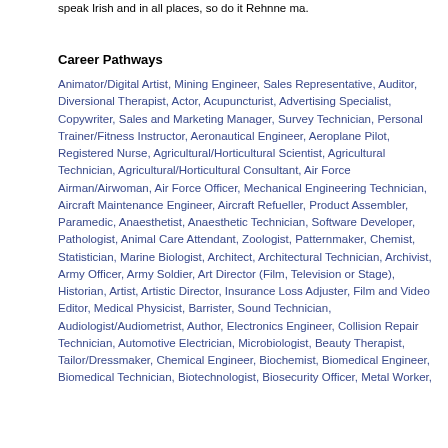speak Irish and in all places, so do it Rehnne ma.
Career Pathways
Animator/Digital Artist, Mining Engineer, Sales Representative, Auditor, Diversional Therapist, Actor, Acupuncturist, Advertising Specialist, Copywriter, Sales and Marketing Manager, Survey Technician, Personal Trainer/Fitness Instructor, Aeronautical Engineer, Aeroplane Pilot, Registered Nurse, Agricultural/Horticultural Scientist, Agricultural Technician, Agricultural/Horticultural Consultant, Air Force Airman/Airwoman, Air Force Officer, Mechanical Engineering Technician, Aircraft Maintenance Engineer, Aircraft Refueller, Product Assembler, Paramedic, Anaesthetist, Anaesthetic Technician, Software Developer, Pathologist, Animal Care Attendant, Zoologist, Patternmaker, Chemist, Statistician, Marine Biologist, Architect, Architectural Technician, Archivist, Army Officer, Army Soldier, Art Director (Film, Television or Stage), Historian, Artist, Artistic Director, Insurance Loss Adjuster, Film and Video Editor, Medical Physicist, Barrister, Sound Technician, Audiologist/Audiometrist, Author, Electronics Engineer, Collision Repair Technician, Automotive Electrician, Microbiologist, Beauty Therapist, Tailor/Dressmaker, Chemical Engineer, Biochemist, Biomedical Engineer, Biomedical Technician, Biotechnologist, Biosecurity Officer, Metal Worker,